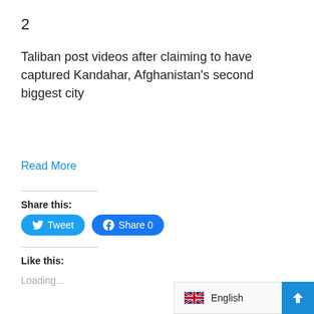2
Taliban post videos after claiming to have captured Kandahar, Afghanistan's second biggest city
Read More
Share this:
Tweet
Share 0
Like this:
Loading...
English